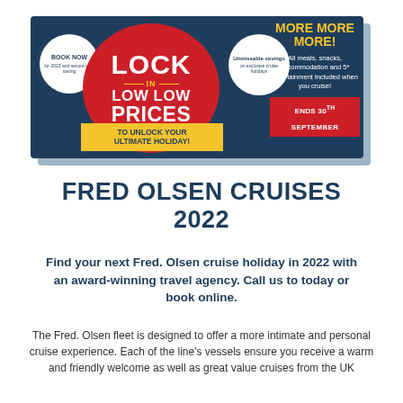[Figure (infographic): Fred Olsen Cruises promotional banner: 'Lock In Low Low Prices' with 'More More More!' offer. Features red circle with LOCK IN LOW LOW PRICES text, book now circle, unmissable savings circle, yellow TO UNLOCK YOUR ULTIMATE HOLIDAY bar, right side with all meals/snacks/accommodation/5* entertainment included, ends 30th September badge.]
FRED OLSEN CRUISES 2022
Find your next Fred. Olsen cruise holiday in 2022 with an award-winning travel agency. Call us to today or book online.
The Fred. Olsen fleet is designed to offer a more intimate and personal cruise experience. Each of the line's vessels ensure you receive a warm and friendly welcome as well as great value cruises from the UK